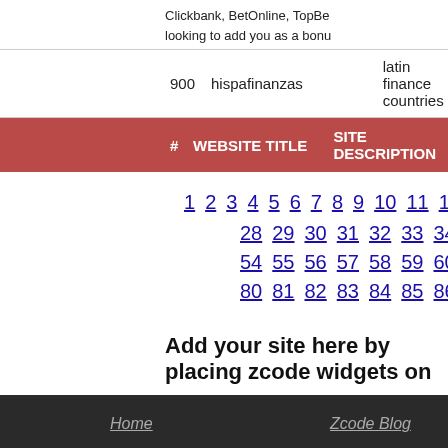Clickbank, BetOnline, TopBe looking to add you as a bonu
| # | WEBSITE TITLE | SITE DESCRIPTION |
| --- | --- | --- |
| 900 | hispafinanzas | latin finance countries |
Pagination: 1 2 3 4 5 6 7 8 9 10 11 12 ... 28 29 30 31 32 33 34 35 36 37 38 39... 54 55 56 57 58 59 60 61 62 63 64 65... 80 81 82 83 84 85 86 87 88 89 90 91...
Add your site here by placing zcode widgets on
Home | Zcode Blog | Betting Myths | NFL | Sports Predictions | About Us | MLB | Betting Lines | Sports Betting Syste | NBA | Expert Picks | Football Betting Sys